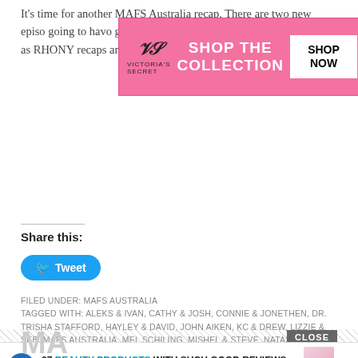It's time for another MAFS Australia recap. There are two new episodes going and I'm going to have to go to bed at this point of the night on Thursday as RHONY recaps are just so draining. [...]
[Figure (screenshot): Victoria's Secret advertisement banner: pink background with VS logo, 'SHOP THE COLLECTION' text and 'SHOP NOW' white button]
Share this:
[Figure (infographic): Twitter Tweet button in blue rounded rectangle]
FILED UNDER: MAFS AUSTRALIA
TAGGED WITH: ALEKS & IVAN, CATHY & JOSH, CONNIE & JONETHEN, DR. TRISHA STAFFORD, HAYLEY & DAVID, JOHN AIKEN, KC & DREW, LIZZIE & SEB, MAFS AUSTRALIA, MEL SCHILING, MISHEL & STEVE, NATASHA & MIKEY, POPPY & LUKE, STACEY & MICHAEL, TASH & AMANDA, VANESSA & CHRIS
[Figure (infographic): Diagonal slash divider bar and CLOSE button]
[Figure (infographic): Bottom advertisement: 22 Words badge, '37 BEAUTY PRODUCTS WITH SUCH GOOD REVIEWS YOU MIGHT WANT TO TRY THEM YOURSELF' text with product image]